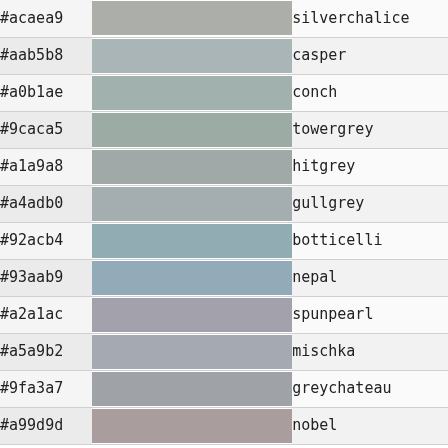| Hex | Swatch | Name |
| --- | --- | --- |
| #acaea9 |  | silverchalice |
| #aab5b8 |  | casper |
| #a0b1ae |  | conch |
| #9caca5 |  | towergrey |
| #a1a9a8 |  | hitgrey |
| #a4adb0 |  | gullgrey |
| #92acb4 |  | botticelli |
| #93aab9 |  | nepal |
| #a2a1ac |  | spunpearl |
| #a5a9b2 |  | mischka |
| #9fa3a7 |  | greychateau |
| #a99d9d |  | nobel |